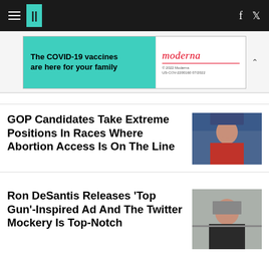HuffPost navigation with hamburger menu, logo, Facebook and Twitter icons
[Figure (screenshot): Moderna COVID-19 vaccine advertisement banner: 'The COVID-19 vaccines are here for your family' on teal background, Moderna logo on white right side]
GOP Candidates Take Extreme Positions In Races Where Abortion Access Is On The Line
[Figure (photo): Photo of a woman with long dark hair, smiling, wearing a red outfit, at a political event with blue signage in background]
Ron DeSantis Releases 'Top Gun'-Inspired Ad And The Twitter Mockery Is Top-Notch
[Figure (photo): Photo of Ron DeSantis speaking, wearing a dark jacket, looking forward]